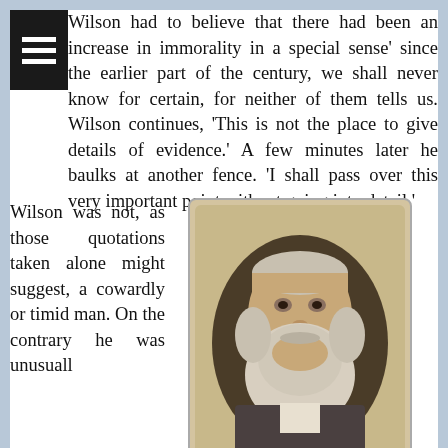Wilson had to believe that there had been an increase in immorality in a special sense' since the earlier part of the century, we shall never know for certain, for neither of them tells us. Wilson continues, 'This is not the place to give details of evidence.' A few minutes later he baulks at another fence. 'I shall pass over this very important point without going into detail.'
Wilson was not, as those quotations taken alone might suggest, a cowardly or timid man. On the contrary he was unusuall
[Figure (photo): Sepia-toned portrait photograph of a Victorian-era man with a long white beard and thinning white hair, set in an oval frame on a card mount.]